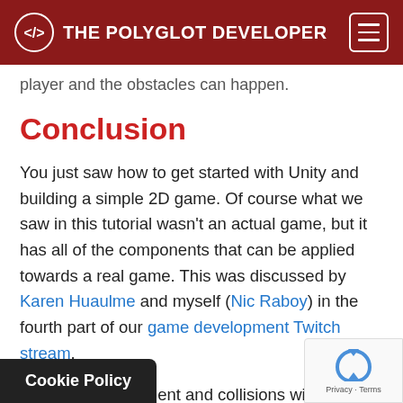THE POLYGLOT DEVELOPER
player and the obstacles can happen.
Conclusion
You just saw how to get started with Unity and building a simple 2D game. Of course what we saw in this tutorial wasn't an actual game, but it has all of the components that can be applied towards a real game. This was discussed by Karen Huaulme and myself (Nic Raboy) in the fourth part of our game development Twitch stream.
The player movement and collisions will be useful in the Plummeting People game as players will not only need to dodge other players, but obstacles as well as they